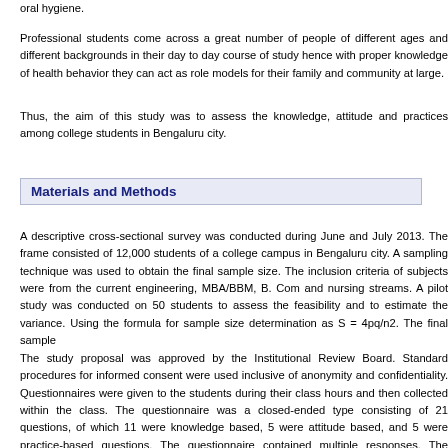oral hygiene.
Professional students come across a great number of people of different ages and different backgrounds in their day to day course of study hence with proper knowledge of health behavior they can act as role models for their family and community at large.
Thus, the aim of this study was to assess the knowledge, attitude and practices among college students in Bengaluru city.
Materials and Methods
A descriptive cross-sectional survey was conducted during June and July 2013. The frame consisted of 12,000 students of a college campus in Bengaluru city. A sampling technique was used to obtain the final sample size. The inclusion criteria of subjects were from the current engineering, MBA/BBM, B. Com and nursing streams. A pilot study was conducted on 50 students to assess the feasibility and to estimate the variance. Using the formula for sample size determination as S = 4pq/n2. The final sample
The study proposal was approved by the Institutional Review Board. Standard procedures for informed consent were used inclusive of anonymity and confidentiality. Questionnaires were given to the students during their class hours and then collected within the class. The questionnaire was a closed-ended type consisting of 21 questions, of which 11 were knowledge based, 5 were attitude based, and 5 were practice-based questions. The questionnaire contained multiple responses. The answers to each question were numerically